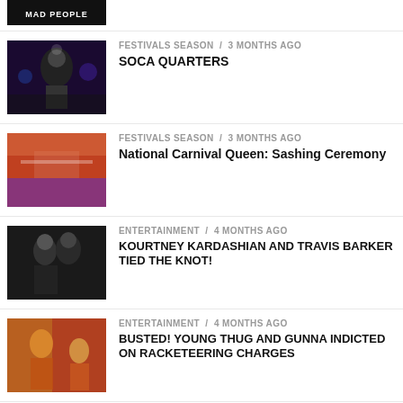MAD PEOPLE
FESTIVALS SEASON / 3 months ago
SOCA QUARTERS
FESTIVALS SEASON / 3 months ago
National Carnival Queen: Sashing Ceremony
ENTERTAINMENT / 4 months ago
KOURTNEY KARDASHIAN AND TRAVIS BARKER TIED THE KNOT!
ENTERTAINMENT / 4 months ago
BUSTED! YOUNG THUG AND GUNNA INDICTED ON RACKETEERING CHARGES
ENTERTAINMENT / 4 months ago
NUDE VIDEO OF JESSE WILLIAMS ON BROADWAY LEAKED